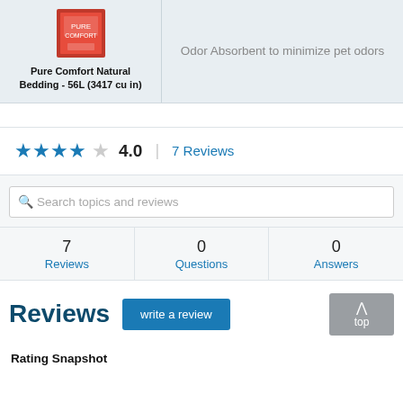[Figure (photo): Product image of Pure Comfort Natural Bedding 56L in red packaging]
Pure Comfort Natural Bedding - 56L (3417 cu in)
Odor Absorbent to minimize pet odors
★★★★☆ 4.0 | 7 Reviews
Search topics and reviews
7 Reviews
0 Questions
0 Answers
Reviews
write a review
top
Rating Snapshot